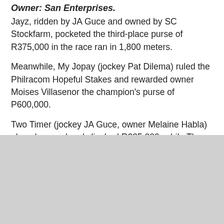Owner: San Enterprises.
Jayz, ridden by JA Guce and owned by SC Stockfarm, pocketed the third-place purse of R375,000 in the race ran in 1,800 meters.
Meanwhile, My Jopay (jockey Pat Dilema) ruled the Philracom Hopeful Stakes and rewarded owner Moises Villasenor the champion's purse of P600,000.
Two Timer (jockey JA Guce, owner Melaine Habla) placed second and clinched R225,000, while The Accountant (CP Henson, Luis Aguila) ranked third and got P125,000.
In the Philracom 3YO Locally Bred Stakes Race, the